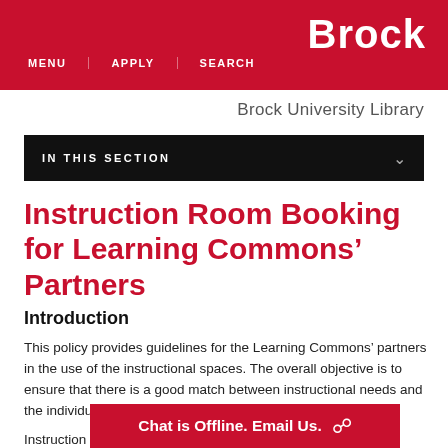Brock
MENU   APPLY   SEARCH
Brock University Library
IN THIS SECTION
Instruction Room Booking for Learning Commons’ Partners
Introduction
This policy provides guidelines for the Learning Commons’ partners in the use of the instructional spaces. The overall objective is to ensure that there is a good match between instructional needs and the individual spaces in the Learning Commons (LC).
Instruction R…
Chat is Offline. Email Us.